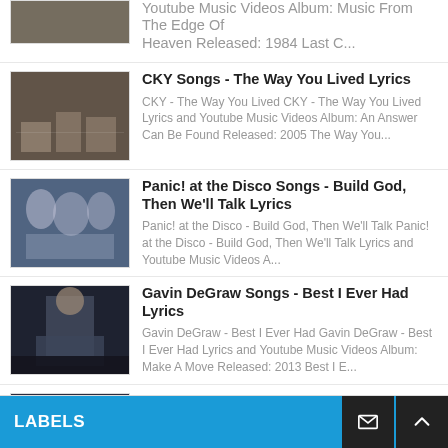Youtube Music Videos Album: Music From The Edge Of Heaven Released: 1984 Last C...
CKY Songs - The Way You Lived Lyrics
CKY - The Way You Lived CKY - The Way You Lived Lyrics and Youtube Music Videos Album: An Answer Can Be Found Released: 2005 The Way You...
Panic! at the Disco Songs - Build God, Then We'll Talk Lyrics
Panic! at the Disco - Build God, Then We'll Talk Panic! at the Disco - Build God, Then We'll Talk Lyrics and Youtube Music Videos A...
Gavin DeGraw Songs - Best I Ever Had Lyrics
Gavin DeGraw - Best I Ever Had Gavin DeGraw - Best I Ever Had Lyrics and Youtube Music Videos Album: Make A Move Released: 2013 Best I E...
Oasis Songs - Songbird Lyrics
Oasis - Songbird Oasis - Songbird Lyrics and Youtube Music Videos Album: Heathen Chemistry Released: 2002 Songbird Lyrics Talking to the...
LABELS